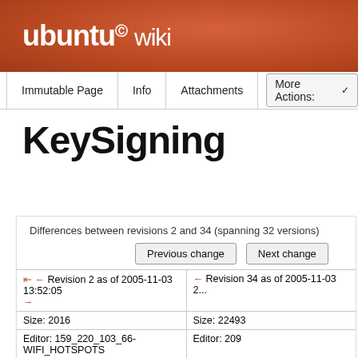ubuntu wiki
Immutable Page  Info  Attachments  More Actions:
KeySigning
Differences between revisions 2 and 34 (spanning 32 versions)
Previous change  Next change
| Left | Right |
| --- | --- |
| ↤ ← Revision 2 as of 2005-11-03 13:52:05
→ | ← Revision 34 as of 2005-11-03 2... |
| Size: 2016 | Size: 22493 |
| Editor: 159_220_103_66-WIFI_HOTSPOTS | Editor: 209 |
| Comment: | Comment: |